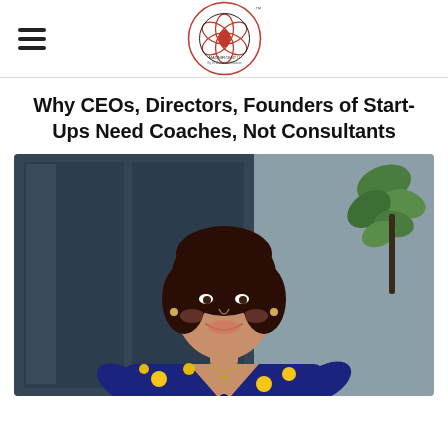MAGNIFICENT U - By Dr. Anandita Chawhan (logo)
Why CEOs, Directors, Founders of Start-Ups Need Coaches, Not Consultants
[Figure (photo): Professional woman with short dark hair, smiling, wearing a navy blue floral top with yellow flowers, photographed outdoors in front of glass panels with plants visible in background]